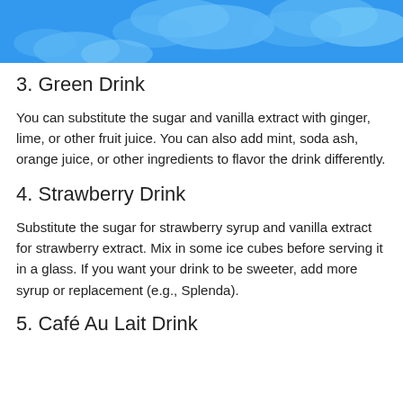[Figure (illustration): Blue sky background with white cloud shapes at the top of the page]
3. Green Drink
You can substitute the sugar and vanilla extract with ginger, lime, or other fruit juice. You can also add mint, soda ash, orange juice, or other ingredients to flavor the drink differently.
4. Strawberry Drink
Substitute the sugar for strawberry syrup and vanilla extract for strawberry extract. Mix in some ice cubes before serving it in a glass. If you want your drink to be sweeter, add more syrup or replacement (e.g., Splenda).
5. Café Au Lait Drink